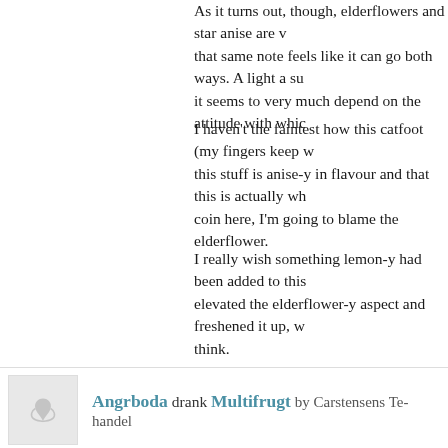As it turns out, though, elderflowers and star anise are v... that same note feels like it can go both ways. A light a su... it seems to very much depend on the attitude with whic...
I haven't the faintest how this catfoot (my fingers keep w... this stuff is anise-y in flavour and that this is actually wh... coin here, I'm going to blame the elderflower.
I really wish something lemon-y had been added to this... elevated the elderflower-y aspect and freshened it up, w... think.
I don't think I would buy this again, but who knows? So...
2 years ago | ♥ 12 likes | 💬 2 comments
Angrboda drank Multifrugt by Carstensens Te-handel